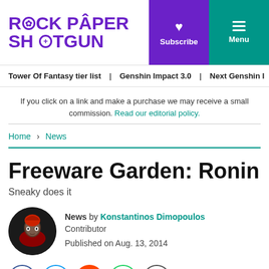ROCK PAPER SHOTGUN | Subscribe | Menu
Tower Of Fantasy tier list | Genshin Impact 3.0 | Next Genshin I
If you click on a link and make a purchase we may receive a small commission. Read our editorial policy.
Home > News
Freeware Garden: Ronin
Sneaky does it
News by Konstantinos Dimopoulos
Contributor
Published on Aug. 13, 2014
14 comments